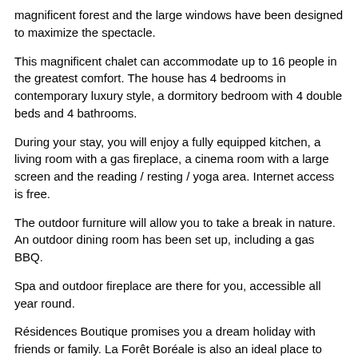magnificent forest and the large windows have been designed to maximize the spectacle.
This magnificent chalet can accommodate up to 16 people in the greatest comfort. The house has 4 bedrooms in contemporary luxury style, a dormitory bedroom with 4 double beds and 4 bathrooms.
During your stay, you will enjoy a fully equipped kitchen, a living room with a gas fireplace, a cinema room with a large screen and the reading / resting / yoga area. Internet access is free.
The outdoor furniture will allow you to take a break in nature. An outdoor dining room has been set up, including a gas BBQ.
Spa and outdoor fireplace are there for you, accessible all year round.
Résidences Boutique promises you a dream holiday with friends or family. La Forêt Boréale is also an ideal place to hold corporate activities since there is a calm and inspiring climate that could encourage creativity ...